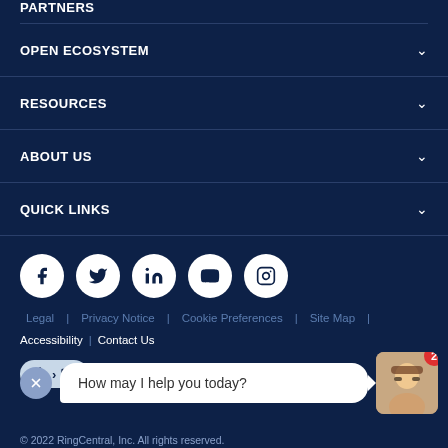PARTNERS
OPEN ECOSYSTEM
RESOURCES
ABOUT US
QUICK LINKS
[Figure (illustration): Social media icons row: Facebook, Twitter, LinkedIn, YouTube, Instagram]
Legal | Privacy Notice | Cookie Preferences | Site Map |
Accessibility | Contact Us
[Figure (screenshot): Accessibility widget button with wheelchair and screen icons]
How may I help you today?
[Figure (photo): Customer service agent photo with notification badge showing 2]
© 2022 RingCentral, Inc. All rights reserved.